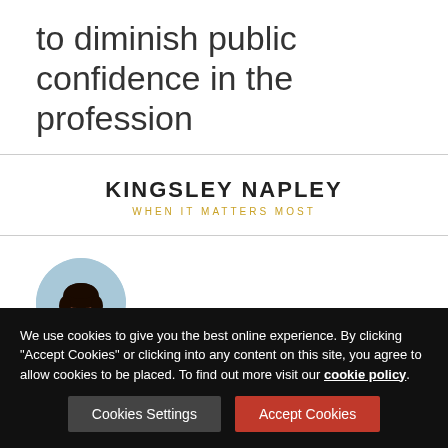to diminish public confidence in the profession
[Figure (logo): Kingsley Napley law firm logo with text 'KINGSLEY NAPLEY' and tagline 'WHEN IT MATTERS MOST']
[Figure (photo): Circular headshot photo of a woman with dark hair]
United Kingdom | November 12 2015
We use cookies to give you the best online experience. By clicking "Accept Cookies" or clicking into any content on this site, you agree to allow cookies to be placed. To find out more visit our cookie policy